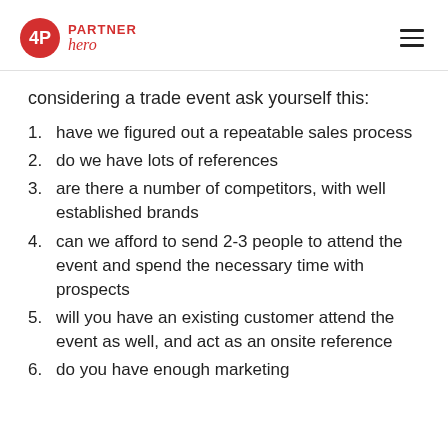PartnerHero
considering a trade event ask yourself this:
have we figured out a repeatable sales process
do we have lots of references
are there a number of competitors, with well established brands
can we afford to send 2-3 people to attend the event and spend the necessary time with prospects
will you have an existing customer attend the event as well, and act as an onsite reference
do you have enough marketing